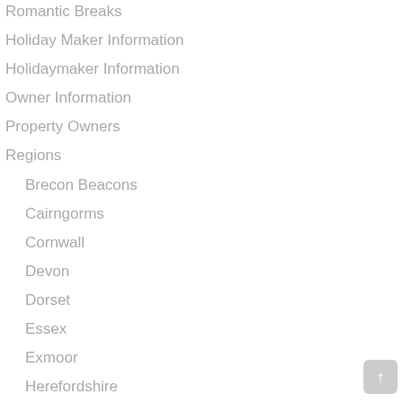Romantic Breaks
Holiday Maker Information
Holidaymaker Information
Owner Information
Property Owners
Regions
Brecon Beacons
Cairngorms
Cornwall
Devon
Dorset
Essex
Exmoor
Herefordshire
Isle of Wight
Kent
Lancashire